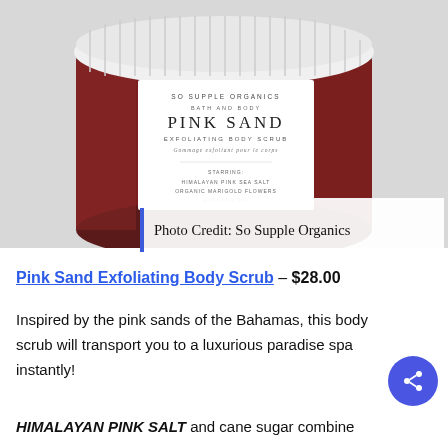[Figure (photo): A jar of So Supple Organics Bath and Body Pink Sand Exfoliating Body Scrub with a white lid and dark pink/red product visible through the glass jar. The label reads: SO SUPPLE ORGANICS BATH AND BODY / PINK SAND / EXFOLIATING BODY SCRUB / Gommage exfoliant pour le corps / STARRING: HIMALAYAN PINK SEA SALT / ORGANIC MARIGOLD FLOWERS / AVOCADO OIL]
Photo Credit: So Supple Organics
Pink Sand Exfoliating Body Scrub – $28.00
Inspired by the pink sands of the Bahamas, this body scrub will transport you to a luxurious paradise spa instantly!
HIMALAYAN PINK SALT and cane sugar combine